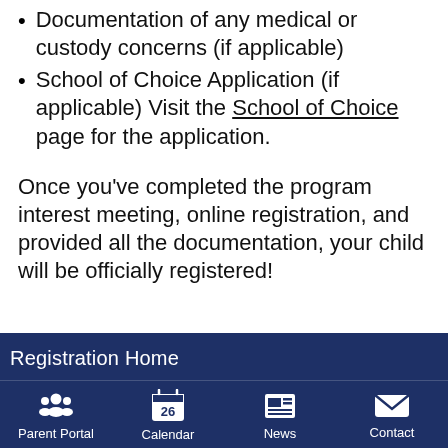Documentation of any medical or custody concerns (if applicable)
School of Choice Application (if applicable) Visit the School of Choice page for the application.
Once you've completed the program interest meeting, online registration, and provided all the documentation, your child will be officially registered!
Registration Home | Parent Portal | Calendar | News | Contact